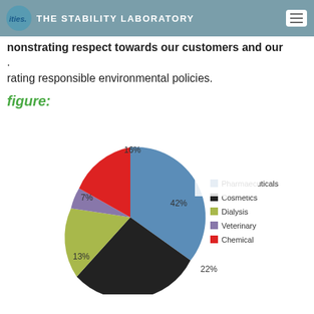ities. THE STABILITY LABORATORY
nonstrating respect towards our customers and our
.
rating responsible environmental policies.
figure:
[Figure (pie-chart): ]